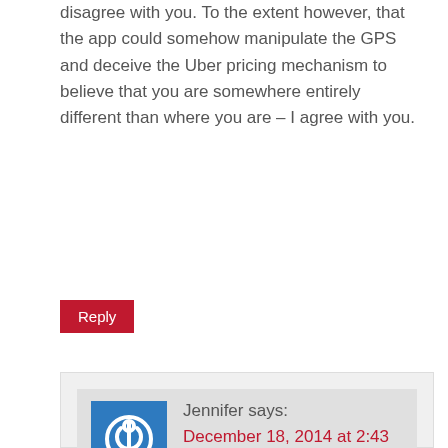disagree with you. To the extent however, that the app could somehow manipulate the GPS and deceive the Uber pricing mechanism to believe that you are somewhere entirely different than where you are – I agree with you.
Reply
Jennifer says: December 18, 2014 at 2:43 pm
I agree with walking to a non-surge zone to avoid the surge. That's completely legit. As long as the rider is located where they drop the pin